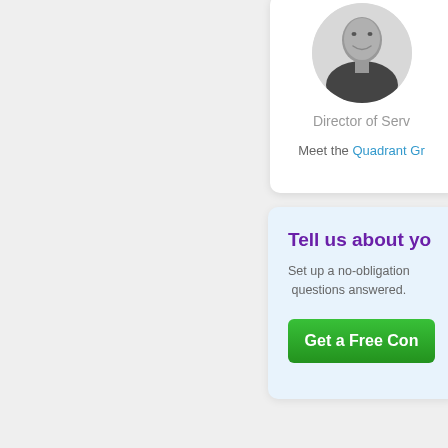[Figure (photo): Black and white circular portrait photo of a man, partially cropped, shown in the upper right area of the page]
Director of Serv...
Meet the Quadrant Gr...
Tell us about yo...
Set up a no-obligation ... questions answered.
Get a Free Con...